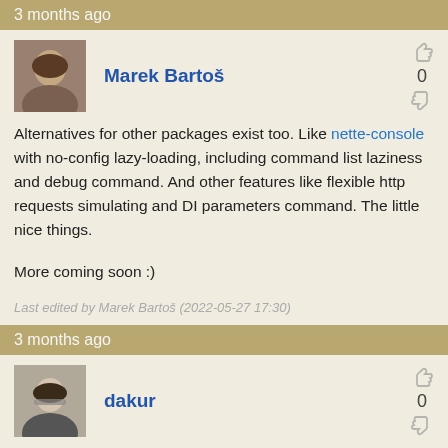3 months ago
Marek Bartoš
Alternatives for other packages exist too. Like nette-console with no-config lazy-loading, including command list laziness and debug command. And other features like flexible http requests simulating and DI parameters command. The little nice things.

More coming soon :)
Last edited by Marek Bartoš (2022-05-27 17:30)
3 months ago
dakur